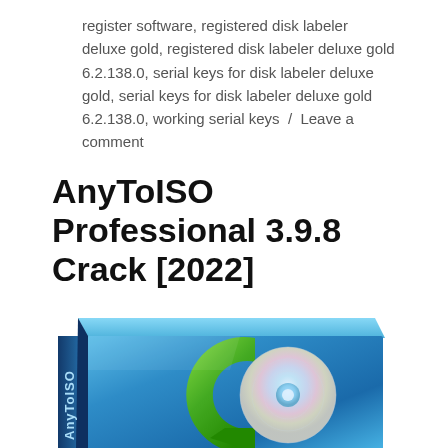register software, registered disk labeler deluxe gold, registered disk labeler deluxe gold 6.2.138.0, serial keys for disk labeler deluxe gold, serial keys for disk labeler deluxe gold 6.2.138.0, working serial keys / Leave a comment
AnyToISO Professional 3.9.8 Crack [2022]
[Figure (photo): AnyToISO software product box with blue gradient finish, green C-shaped logo with a disc in the center, and 'AnyToISO' text on the spine.]